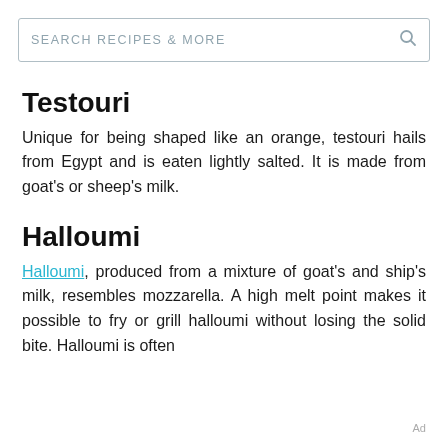SEARCH RECIPES & MORE
Testouri
Unique for being shaped like an orange, testouri hails from Egypt and is eaten lightly salted. It is made from goat's or sheep's milk.
Halloumi
Halloumi, produced from a mixture of goat's and ship's milk, resembles mozzarella. A high melt point makes it possible to fry or grill halloumi without losing the solid bite. Halloumi is often
Ad